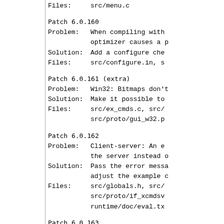Files:        src/menu.c
Patch 6.0.160
Problem:      When compiling with optimizer causes a p
Solution:     Add a configure che
Files:        src/configure.in, s
Patch 6.0.161 (extra)
Problem:      Win32: Bitmaps don't
Solution:     Make it possible to
Files:        src/ex_cmds.c, src/
              src/proto/gui_w32.p
Patch 6.0.162
Problem:      Client-server: An e
              the server instead o
Solution:     Pass the error messa
              adjust the example c
Files:        src/globals.h, src/
              src/proto/if_xcmdsr
              runtime/doc/eval.tx
Patch 6.0.163
Problem:      When using a GUI dia
              a directory.
Solution:     Generate nth and f